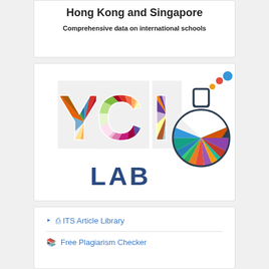Hong Kong and Singapore
Comprehensive data on international schools
[Figure (logo): YCI Lab logo — colorful letters Y, C, I and a multicolored flask graphic, with 'LAB' text beneath in dark blue]
ITS Article Library
Free Plagiarism Checker